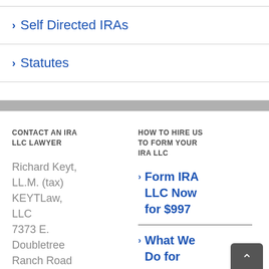> Self Directed IRAs
> Statutes
CONTACT AN IRA LLC LAWYER
HOW TO HIRE US TO FORM YOUR IRA LLC
Richard Keyt, LL.M. (tax) KEYTLaw, LLC 7373 E. Doubletree Ranch Road
> Form IRA LLC Now for $997
> What We Do for